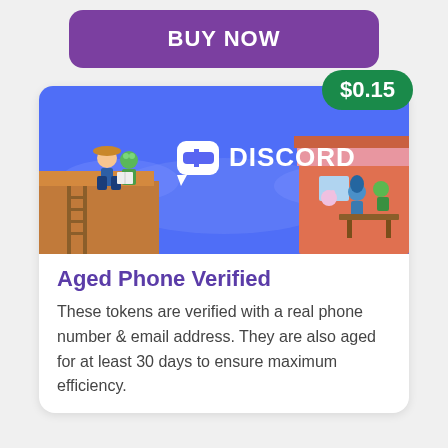BUY NOW
[Figure (illustration): Discord promotional banner image showing cartoon characters in a colorful scene with the Discord logo and wordmark in the center, on a blue background. A price badge showing $0.15 is overlaid in the top-right corner.]
Aged Phone Verified
These tokens are verified with a real phone number & email address. They are also aged for at least 30 days to ensure maximum efficiency.